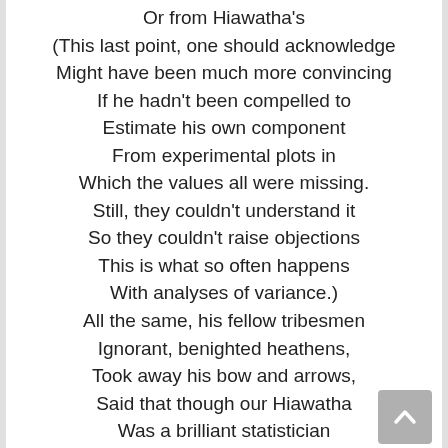Or from Hiawatha's
(This last point, one should acknowledge
Might have been much more convincing
If he hadn't been compelled to
Estimate his own component
From experimental plots in
Which the values all were missing.
Still, they couldn't understand it
So they couldn't raise objections
This is what so often happens
With analyses of variance.)
All the same, his fellow tribesmen
Ignorant, benighted heathens,
Took away his bow and arrows,
Said that though our Hiawatha
Was a brilliant statistician
He was useless as a bowman,